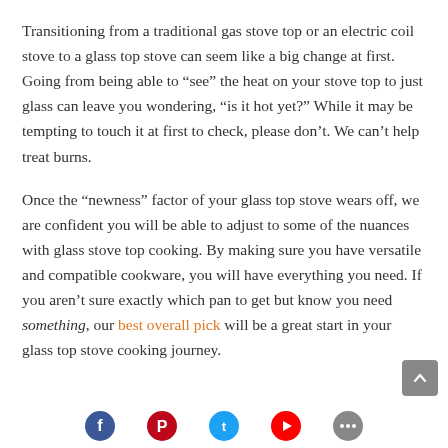Transitioning from a traditional gas stove top or an electric coil stove to a glass top stove can seem like a big change at first. Going from being able to “see” the heat on your stove top to just glass can leave you wondering, “is it hot yet?” While it may be tempting to touch it at first to check, please don’t. We can’t help treat burns.
Once the “newness” factor of your glass top stove wears off, we are confident you will be able to adjust to some of the nuances with glass stove top cooking. By making sure you have versatile and compatible cookware, you will have everything you need. If you aren’t sure exactly which pan to get but know you need something, our best overall pick will be a great start in your glass top stove cooking journey.